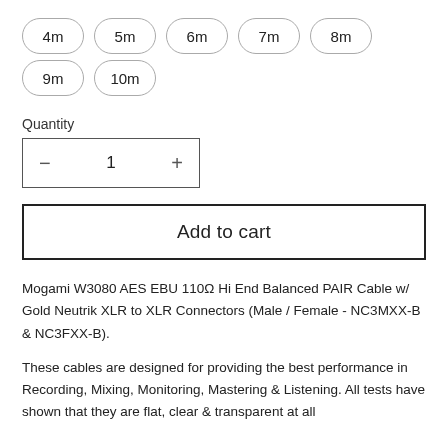4m  5m  6m  7m  8m  9m  10m
Quantity
– 1 +
Add to cart
Mogami W3080 AES EBU 110Ω Hi End Balanced PAIR Cable w/ Gold Neutrik XLR to XLR Connectors (Male / Female - NC3MXX-B & NC3FXX-B).
These cables are designed for providing the best performance in Recording, Mixing, Monitoring, Mastering & Listening. All tests have shown that they are flat, clear & transparent at all